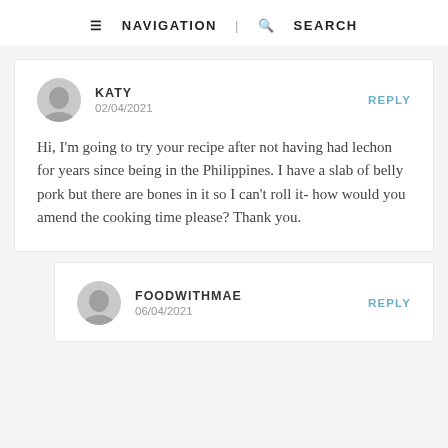≡ NAVIGATION | 🔍 SEARCH
KATY
02/04/2021
REPLY
Hi, I'm going to try your recipe after not having had lechon for years since being in the Philippines. I have a slab of belly pork but there are bones in it so I can't roll it- how would you amend the cooking time please? Thank you.
FOODWITHMAE
06/04/2021
REPLY